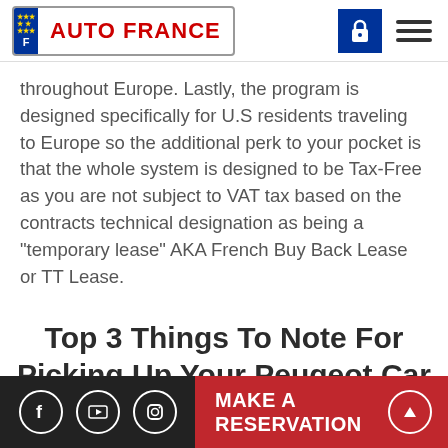AUTO FRANCE
throughout Europe. Lastly, the program is designed specifically for U.S residents traveling to Europe so the additional perk to your pocket is that the whole system is designed to be Tax-Free as you are not subject to VAT tax based on the contracts technical designation as being a "temporary lease" AKA French Buy Back Lease or TT Lease.
Top 3 Things To Note For Picking Up Your Peugeot Car
MAKE A RESERVATION